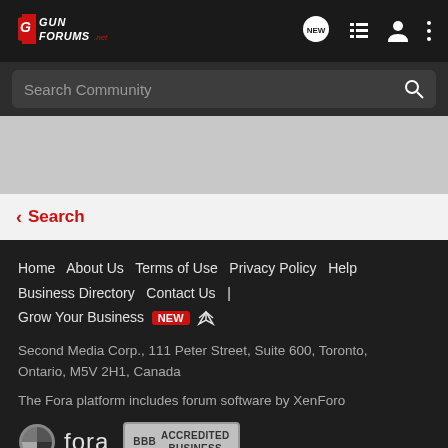[Figure (logo): GunForums.net logo with red and white text on dark background]
[Figure (screenshot): Navigation icons: NEW speech bubble, list icon, person icon, three-dot menu]
Search Community
Search
Home   About Us   Terms of Use   Privacy Policy   Help   Business Directory   Contact Us   |   Grow Your Business  NEW  RSS   Second Media Corp., 111 Peter Street, Suite 600, Toronto, Ontario, M5V 2H1, Canada   The Fora platform includes forum software by XenForo
[Figure (logo): Fora platform logo with circular icon and fora text]
[Figure (logo): BBB Accredited Business badge]